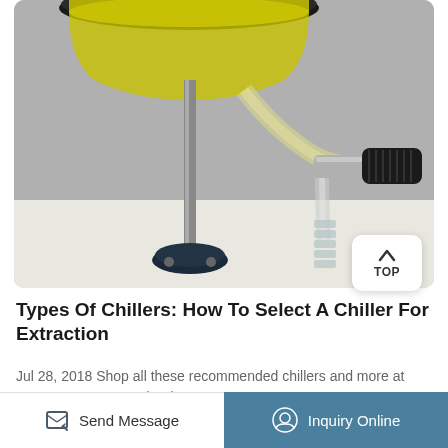[Figure (photo): Close-up photo of laboratory rotary evaporator equipment showing a glass flask with yellow liquid, metal stand, tubing connections, and a black knob connector on a white base]
Types Of Chillers: How To Select A Chiller For Extraction
Jul 28, 2018 Shop all these recommended chillers and more at BVV. 2L Rotovap: Polyscience LS
Send Message
Inquiry Online